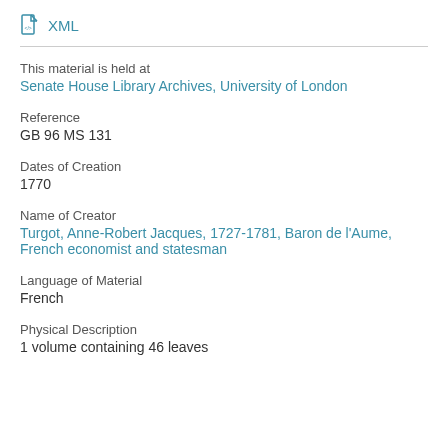XML
This material is held at
Senate House Library Archives, University of London
Reference
GB 96 MS 131
Dates of Creation
1770
Name of Creator
Turgot, Anne-Robert Jacques, 1727-1781, Baron de l'Aume, French economist and statesman
Language of Material
French
Physical Description
1 volume containing 46 leaves